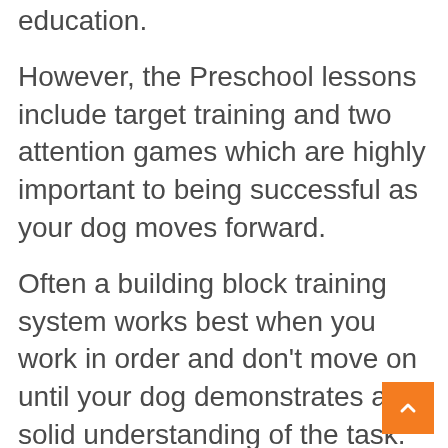education.
However, the Preschool lessons include target training and two attention games which are highly important to being successful as your dog moves forward.
Often a building block training system works best when you work in order and don't move on until your dog demonstrates a solid understanding of the task.
An Extra Thought: I would not